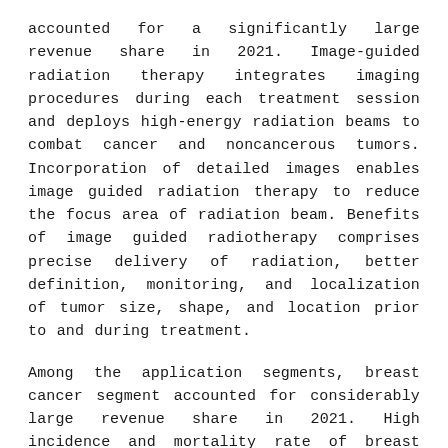accounted for a significantly large revenue share in 2021. Image-guided radiation therapy integrates imaging procedures during each treatment session and deploys high-energy radiation beams to combat cancer and noncancerous tumors. Incorporation of detailed images enables image guided radiation therapy to reduce the focus area of radiation beam. Benefits of image guided radiotherapy comprises precise delivery of radiation, better definition, monitoring, and localization of tumor size, shape, and location prior to and during treatment.
Among the application segments, breast cancer segment accounted for considerably large revenue share in 2021. High incidence and mortality rate of breast cancer are driving adoption of radiation therapeutic methods in medical centers. According to the American Cancer Society, breast cancer accounts for approximately 30% of all cancers in women in the U.S.
Radiation therapy in oncology market in North America